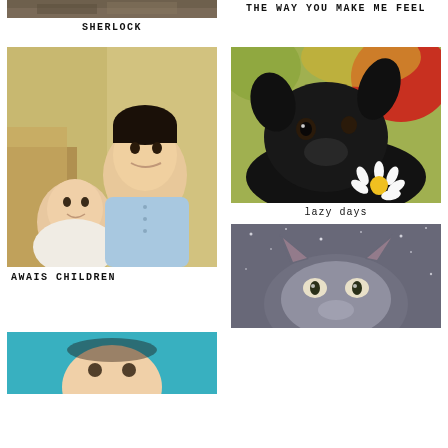[Figure (photo): Partial top of an artwork/portrait – cropped at top of page, left column]
SHERLOCK
THE WAY YOU MAKE ME FEEL
[Figure (photo): Pastel portrait painting of two children: a baby and an older boy in blue shirt]
[Figure (photo): Realistic painting of a black dog lying down with a white daisy flower]
lazy days
AWAIS CHILDREN
[Figure (photo): Painting of a wolf or cat face looking up at a starry grey sky]
[Figure (photo): Partial portrait painting of a baby – cropped at bottom of page, left column]